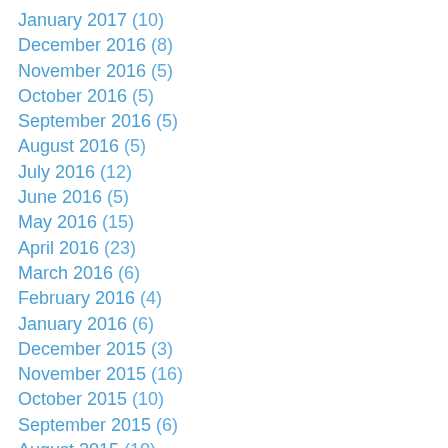January 2017 (10)
December 2016 (8)
November 2016 (5)
October 2016 (5)
September 2016 (5)
August 2016 (5)
July 2016 (12)
June 2016 (5)
May 2016 (15)
April 2016 (23)
March 2016 (6)
February 2016 (4)
January 2016 (6)
December 2015 (3)
November 2015 (16)
October 2015 (10)
September 2015 (6)
August 2015 (10)
July 2015 (6)
June 2015 (5)